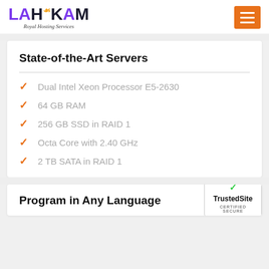LAHKAM Royal Hosting Services
State-of-the-Art Servers
Dual Intel Xeon Processor E5-2630
64 GB RAM
256 GB SSD in RAID 1
Octa Core with 2.40 GHz
2 TB SATA in RAID 1
[Figure (logo): TrustedSite Certified Secure badge with green checkmark]
Program in Any Language